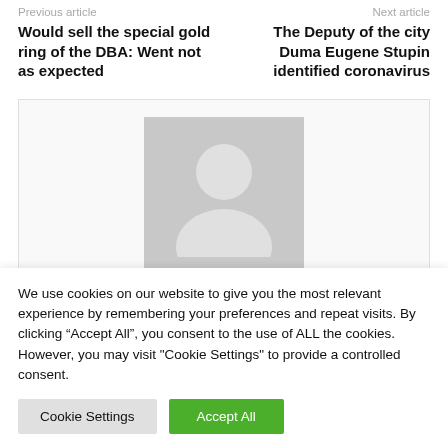Previous article | Next article
Would sell the special gold ring of the DBA: Went not as expected
The Deputy of the city Duma Eugene Stupin identified coronavirus
[Figure (illustration): Gray placeholder avatar image showing a generic person silhouette (head and shoulders) in a light gray box]
We use cookies on our website to give you the most relevant experience by remembering your preferences and repeat visits. By clicking “Accept All”, you consent to the use of ALL the cookies. However, you may visit "Cookie Settings" to provide a controlled consent.